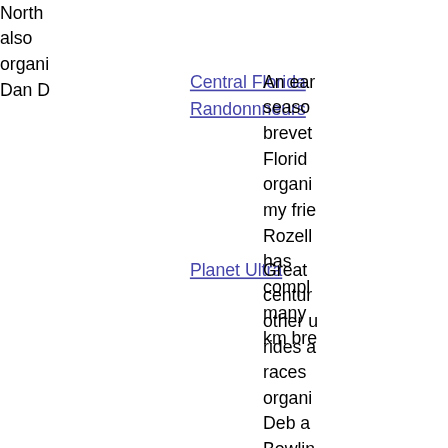North also organi Dan D
Central Florida Randonnneurs
An ear seaso brevet Florid organi my frie Rozell has compl many km bre
Planet Ultra
Great centur other u rides a races organi Deb a Bowlin